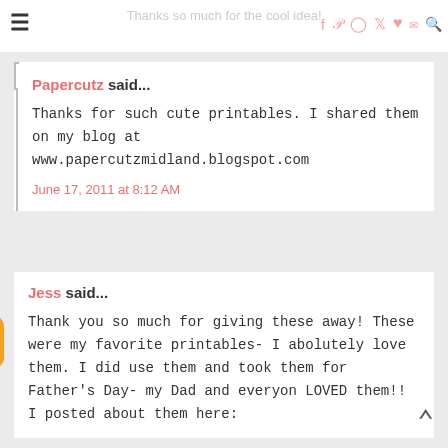Thanks so much for the cool idea!
Papercutz said...
Thanks for such cute printables. I shared them on my blog at www.papercutzmidland.blogspot.com
June 17, 2011 at 8:12 AM
Jess said...
Thank you so much for giving these away! These were my favorite printables- I abolutely love them. I did use them and took them for Father's Day- my Dad and everyon LOVED them!! I posted about them here: